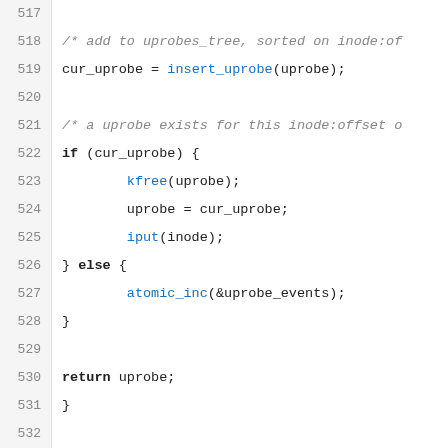[Figure (screenshot): Source code listing in C showing lines 517-540 of a kernel uprobe implementation, displaying functions with line numbers on the left gutter]